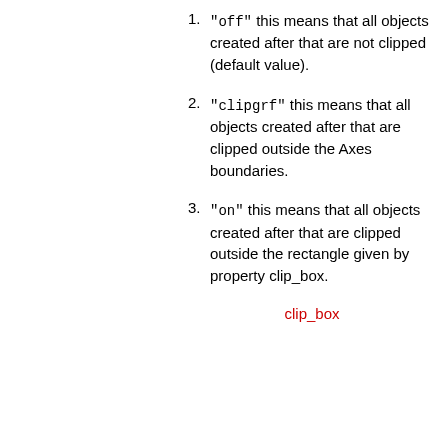"off" this means that all objects created after that are not clipped (default value).
"clipgrf" this means that all objects created after that are clipped outside the Axes boundaries.
"on" this means that all objects created after that are clipped outside the rectangle given by property clip_box.
clip_box